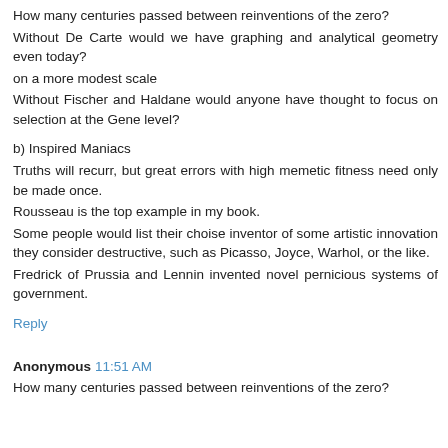How many centuries passed between reinventions of the zero?
Without De Carte would we have graphing and analytical geometry even today?
on a more modest scale
Without Fischer and Haldane would anyone have thought to focus on selection at the Gene level?
b) Inspired Maniacs
Truths will recurr, but great errors with high memetic fitness need only be made once.
Rousseau is the top example in my book.
Some people would list their choise inventor of some artistic innovation they consider destructive, such as Picasso, Joyce, Warhol, or the like.
Fredrick of Prussia and Lennin invented novel pernicious systems of government.
Reply
Anonymous 11:51 AM
...